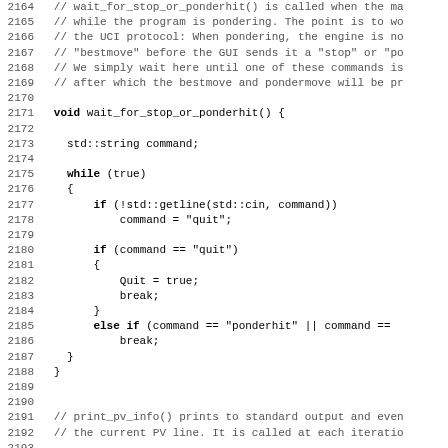Source code listing lines 2164-2195 showing wait_for_stop_or_ponderhit() and print_pv_info() function definitions in C++